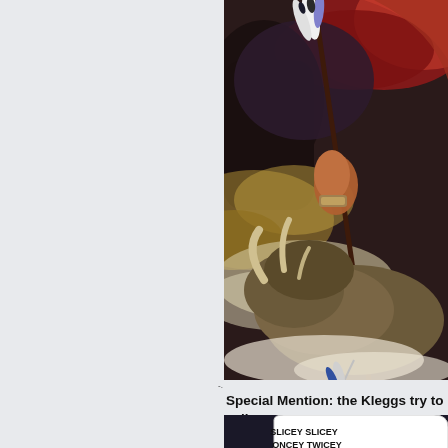[Figure (illustration): Fantasy/comic book illustration showing a muscular warrior holding a feathered spear or staff, with a large horned beast (triceratops-like creature) below. The background features dramatic red and dark clouds. The image is cropped, showing partial view from approximately the mid-section of the page to the right.]
Special Mention: the Kleggs try to sell
[Figure (illustration): Comic book panel showing alien creature characters (Kleggs) with speech bubble text reading: 'SLICEY SLICEY ONCEY TWICEY THESE ZARJAZ SH... ARE A NICEY PRIC...' The panel is partially cropped on the right side.]